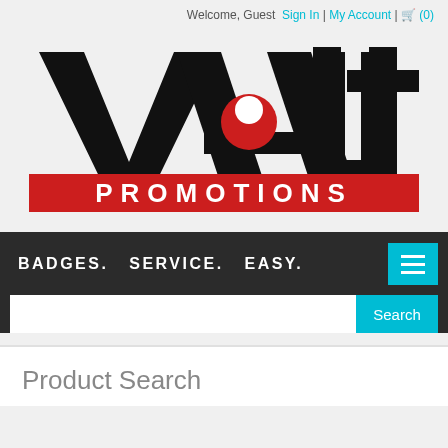Welcome, Guest  Sign In | My Account | (0)
[Figure (logo): Vault Promotions logo — large stylized black text 'Vault' with a red keyhole in the 'a', and a red banner below reading 'PROMOTIONS' in white bold letters]
BADGES.  SERVICE.  EASY.
Product Search